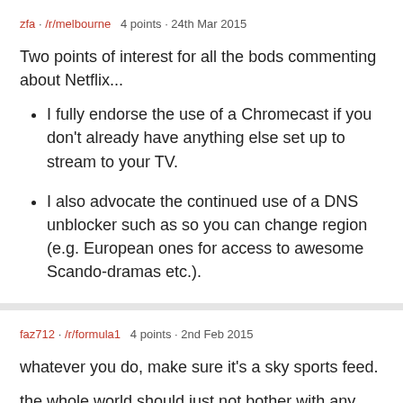zfa · /r/melbourne   4 points · 24th Mar 2015
Two points of interest for all the bods commenting about Netflix...
I fully endorse the use of a Chromecast if you don't already have anything else set up to stream to your TV.
I also advocate the continued use of a DNS unblocker such as so you can change region (e.g. European ones for access to awesome Scando-dramas etc.).
faz712 · /r/formula1   4 points · 2nd Feb 2015
whatever you do, make sure it's a sky sports feed.
the whole world should just not bother with any